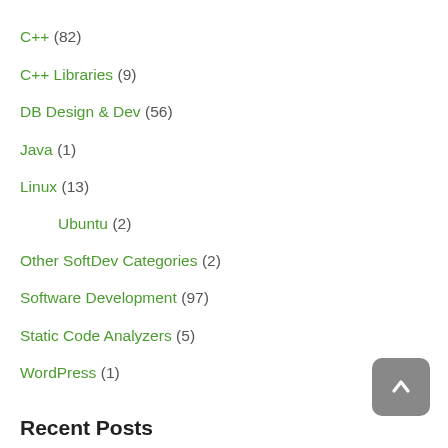C++ (82)
C++ Libraries (9)
DB Design & Dev (56)
Java (1)
Linux (13)
Ubuntu (2)
Other SoftDev Categories (2)
Software Development (97)
Static Code Analyzers (5)
WordPress (1)
Recent Posts
The best command line download utility [ aria2 ] June 10, 2022
How to Enable and Disable Root Login in Ubuntu [for those 32